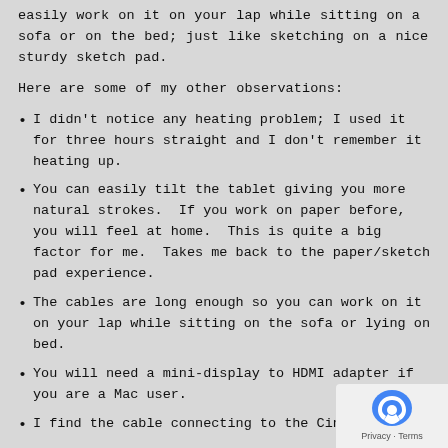easily work on it on your lap while sitting on a sofa or on the bed; just like sketching on a nice sturdy sketch pad.
Here are some of my other observations:
I didn't notice any heating problem; I used it for three hours straight and I don't remember it heating up.
You can easily tilt the tablet giving you more natural strokes.  If you work on paper before, you will feel at home.  This is quite a big factor for me.  Takes me back to the paper/sketch pad experience.
The cables are long enough so you can work on it on your lap while sitting on the sofa or lying on bed.
You will need a mini-display to HDMI adapter if you are a Mac user.
I find the cable connecting to the Cintiq to be